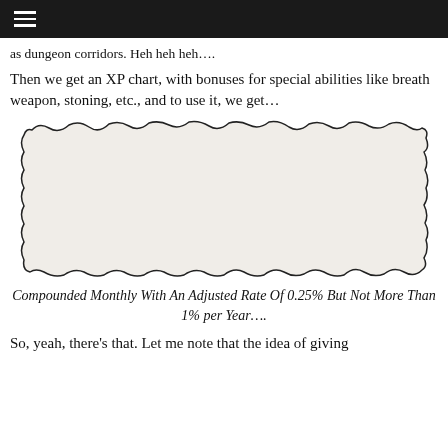≡
as dungeon corridors. Heh heh heh….
Then we get an XP chart, with bonuses for special abilities like breath weapon, stoning, etc., and to use it, we get…
[Figure (photo): Torn paper scrap with small monospace typewritten text describing an XP calculation example involving a seventh level mage, third level fighter, two fourth level thieves, and a medusa with stoning ability and vorpal scimitar.]
Compounded Monthly With An Adjusted Rate Of 0.25% But Not More Than 1% per Year….
So, yeah, there's that. Let me note that the idea of giving